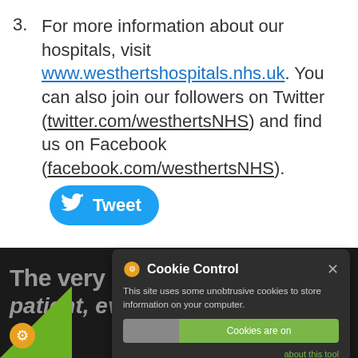3. For more information about our hospitals, visit www.westhertshospitals.nhs.uk. You can also join our followers on Twitter (twitter.com/westhertsNHS) and find us on Facebook (facebook.com/westhertsNHS).
[Figure (other): Tweet button with Twitter bird icon]
The very best care for every patient, every day
[Figure (screenshot): Cookie Control dialog overlay with gear icon, close button, body text about unobtrusive cookies, Cookies are on button, about this tool link, and read more link. Social media icons (Facebook, Twitter, share, LinkedIn) visible in background.]